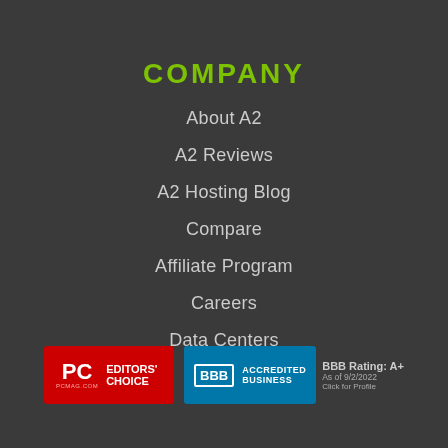COMPANY
About A2
A2 Reviews
A2 Hosting Blog
Compare
Affiliate Program
Careers
Data Centers
[Figure (logo): PC Magazine Editors' Choice badge (red background)]
[Figure (logo): BBB Accredited Business badge with BBB Rating: A+, As of 9/2/2022, Click for Profile]